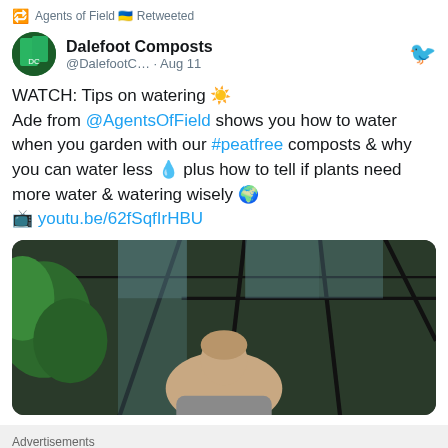Agents of Field 🇺🇦 Retweeted
Dalefoot Composts @DalefootC… · Aug 11
WATCH: Tips on watering ☀️
Ade from @AgentsOfField shows you how to water when you garden with our #peatfree composts & why you can water less 💧 plus how to tell if plants need more water & watering wisely 🌍
📺 youtu.be/62fSqfIrHBU
[Figure (photo): Person standing in front of a glass greenhouse structure surrounded by plants]
Advertisements
[Figure (other): Jetpack advertisement banner with green background showing Jetpack logo and 'Back up your site' button]